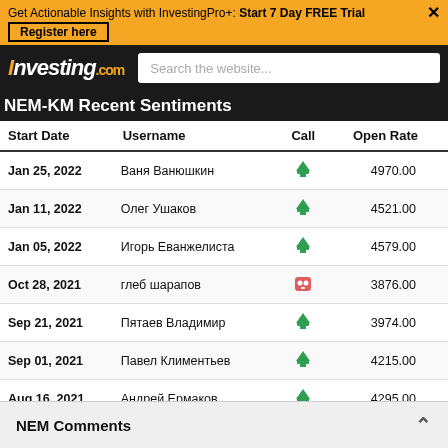Get Actionable Insights with InvestingPro+: Start 7 Day FREE Trial
Register here
[Figure (logo): Investing.com logo with search bar]
NEM-KM Recent Sentiments
| Start Date | Username | Call | Open Rate |
| --- | --- | --- | --- |
| Jan 25, 2022 | Ваня Ванюшкин | bear | 4970.00 |
| Jan 11, 2022 | Олег Ушаков | bear | 4521.00 |
| Jan 05, 2022 | Игорь Еванжелиста | bear | 4579.00 |
| Oct 28, 2021 | глеб шарапов | bull | 3876.00 |
| Sep 21, 2021 | Пятаев Владимир | bear | 3974.00 |
| Sep 01, 2021 | Павел Климентьев | bear | 4215.00 |
| Aug 16, 2021 | Андрей Ермаков | bear | 4295.00 |
| Jun 09, 2021 | Ольга Чернышева | bear | 5024.00 |
| Mar 30, 2021 | Ягуар Ягуар | bear | 4656.00 |
| Mar 22, 2021 | Владимир Вовкович | bear | 4597.00 |
| Mar 17, 2021 | Oleg Brusenko | bear | 4570.00 |
| Mar 03, 2021 | Сергей Демехов | bear | 4127.00 |
| Mar 03, 2021 |  | bear |  |
NEM Comments